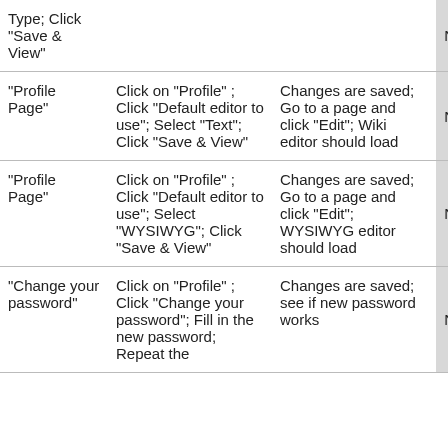| Feature/Function | Steps to test | Expected Result | Status |  |
| --- | --- | --- | --- | --- |
| Type; Click "Save & View" |  |  | Not Tested | - |
| "Profile Page" | Click on "Profile" ; Click "Default editor to use"; Select "Text"; Click "Save & View" | Changes are saved; Go to a page and click "Edit"; Wiki editor should load | Not Tested | - |
| "Profile Page" | Click on "Profile" ; Click "Default editor to use"; Select "WYSIWYG"; Click "Save & View" | Changes are saved; Go to a page and click "Edit"; WYSIWYG editor should load | Not Tested | - |
| "Change your password" | Click on "Profile" ; Click "Change your password"; Fill in the new password; Repeat the... | Changes are saved; see if new password works | Not Tested | - |